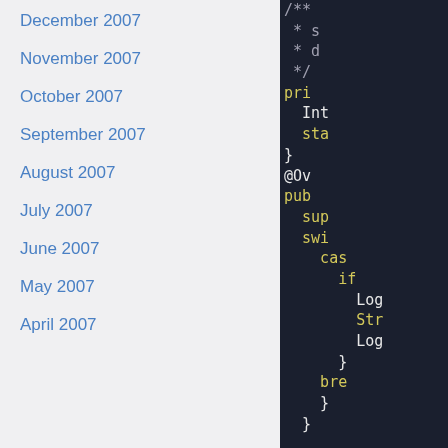December 2007
November 2007
October 2007
September 2007
August 2007
July 2007
June 2007
May 2007
April 2007
[Figure (screenshot): Code editor screenshot showing Java-like code with syntax highlighting on dark background. Yellow keywords include pri, sta, pub, sup, swi, cas, if, Str, bre. White text shows Int, Log, }, @Ov, Log, }, }, }]